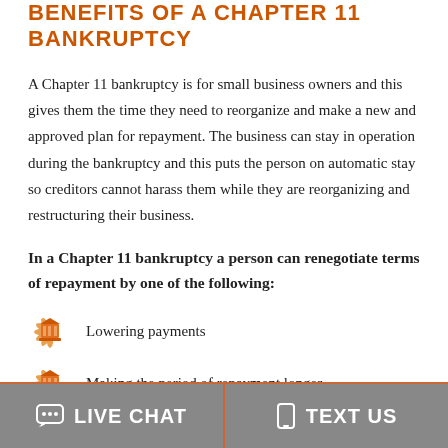BENEFITS OF A CHAPTER 11 BANKRUPTCY
A Chapter 11 bankruptcy is for small business owners and this gives them the time they need to reorganize and make a new and approved plan for repayment. The business can stay in operation during the bankruptcy and this puts the person on automatic stay so creditors cannot harass them while they are reorganizing and restructuring their business.
In a Chapter 11 bankruptcy a person can renegotiate terms of repayment by one of the following:
Lowering payments
Making the period of repayment longer
LIVE CHAT | TEXT US